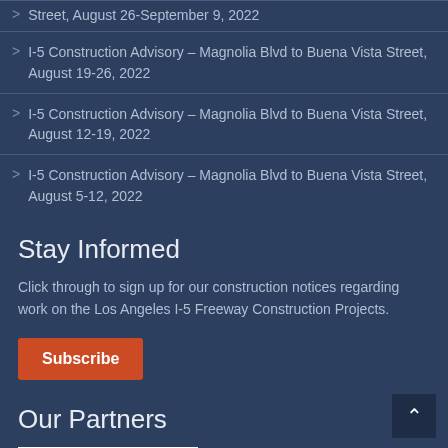I-5 Construction Advisory – Magnolia Blvd to Buena Vista Street, August 26-September 9, 2022
I-5 Construction Advisory – Magnolia Blvd to Buena Vista Street, August 19-26, 2022
I-5 Construction Advisory – Magnolia Blvd to Buena Vista Street, August 12-19, 2022
I-5 Construction Advisory – Magnolia Blvd to Buena Vista Street, August 5-12, 2022
Stay Informed
Click through to sign up for our construction notices regarding work on the Los Angeles I-5 Freeway Construction Projects.
Subscribe
Our Partners
[Figure (logo): Partner organization logo strip at bottom of page]